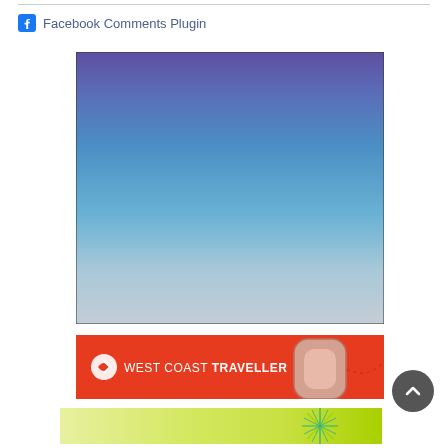Facebook Comments Plugin
[Figure (photo): Large rectangular image with a blue-to-grey gradient sky background, thin black border]
[Figure (screenshot): West Coast Traveller red banner advertisement with white logo and luggage graphic]
[Figure (screenshot): Green and chartreuse gradient banner advertisement with geometric star/compass design]